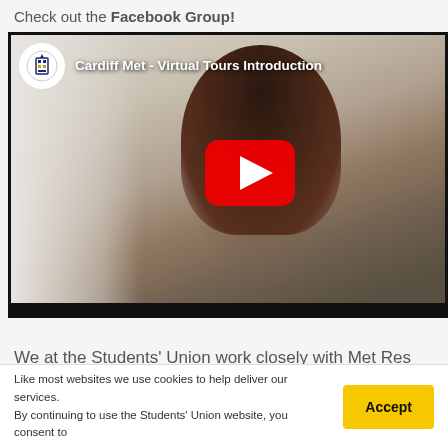Check out the Facebook Group!
[Figure (screenshot): YouTube video embed showing Cardiff Met - Virtual Tours Introduction. A woman with long brown hair looking down, wearing a lanyard. Video has play button overlay. Channel icon shows Cardiff Met logo.]
We at the Students' Union work closely with Met Res
Like most websites we use cookies to help deliver our services. By continuing to use the Students' Union website, you consent to the use of cookies.
Accept